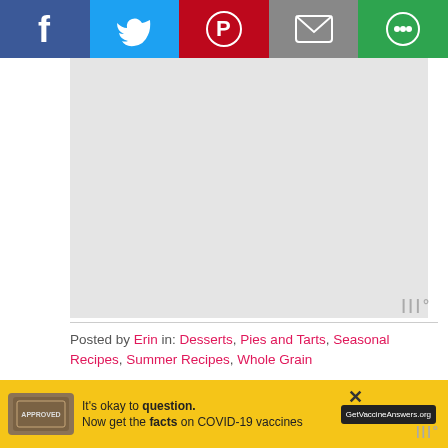[Figure (screenshot): Social media share bar with Facebook (blue), Twitter (light blue), Pinterest (red), Email (gray), and another share option (green) buttons at the top]
[Figure (screenshot): Gray advertisement placeholder area with Mediavine watermark in bottom right]
Posted by Erin in: Desserts, Pies and Tarts, Seasonal Recipes, Summer Recipes, Whole Grain
Like this post? Help others find out about it:
[Figure (screenshot): Social sharing icons: Pinterest (red circle P), Facebook (blue f), Twitter (blue bird), Google+ (red g+)]
[Figure (screenshot): Scroll to top button box in gray]
[Figure (screenshot): Bottom advertisement banner: yellow background with 'It's okay to question. Now get the facts on COVID-19 vaccines' and GetVaccineAnswers.org button]